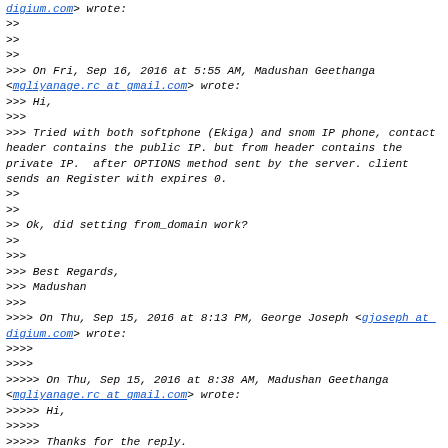digium.com> wrote:
>>
>>
>>
>>> On Fri, Sep 16, 2016 at 5:55 AM, Madushan Geethanga <mgliyanage.rc at gmail.com> wrote:
>>> Hi,
>>>
>>> Tried with both softphone (Ekiga) and snom IP phone, contact header contains the public IP. but from header contains the private IP.  after OPTIONS method sent by the server. client sends an Register with expires 0.
>>
>>
>> Ok, did setting from_domain work?
>>
>>>
>>> Best Regards,
>>> Madushan
>>>
>>>> On Thu, Sep 15, 2016 at 8:13 PM, George Joseph <gjoseph at digium.com> wrote:
>>>>
>>>>
>>>>> On Thu, Sep 15, 2016 at 8:38 AM, Madushan Geethanga <mgliyanage.rc at gmail.com> wrote:
>>>>> Hi,
>>>>>
>>>>> Thanks for the reply.